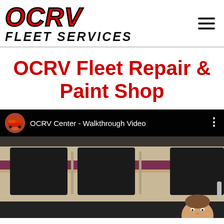[Figure (logo): OCRV Fleet Services logo: bold red italic OCRV text with black outline above bold black italic FLEET SERVICES text]
OCRV Fleet Repair & Paint Shop
[Figure (screenshot): YouTube video thumbnail showing OCRV Center - Walkthrough Video with a circular avatar of a red truck, three-dot menu, and an RV exterior scene with a person visible]